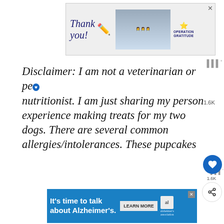[Figure (screenshot): Operation Gratitude thank you advertisement banner with nurses photo and American flag motif]
Disclaimer: I am not a veterinarian or pe… nutritionist. I am just sharing my persona… experience making treats for my two dogs. There are several common… allergies/intolerances. These pupcakes c…
[Figure (screenshot): What's Next panel showing Peanut Butter Snowballs with thumbnail]
[Figure (screenshot): Alzheimer's association advertisement bar — It's time to talk about Alzheimer's. with Learn More button]